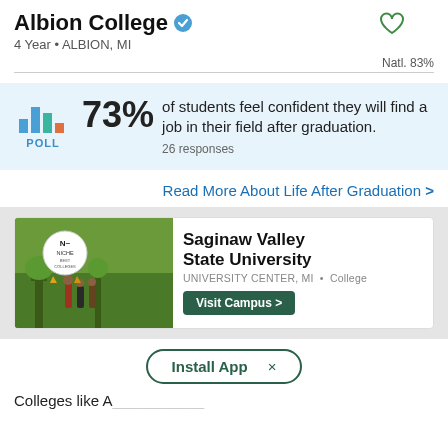Albion College
4 Year • ALBION, MI
Natl. 83%
[Figure (infographic): Poll bar chart icon with blue and orange bars, labeled POLL. Shows 73% of students feel confident they will find a job in their field after graduation. 26 responses.]
73% of students feel confident they will find a job in their field after graduation. 26 responses
Read More About Life After Graduation >
[Figure (photo): Advertisement for Saginaw Valley State University showing campus photo with students walking, Niche Best Colleges badge, university name, location text 'UNIVERSITY CENTER, MI • College', and a 'Visit Campus >' button]
Install App ×
Colleges like A...